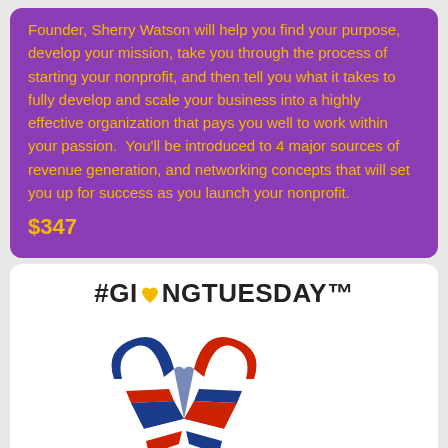Founder, Sherry Watson will help you find your purpose, develop your mission, take you through the process of starting your nonprofit, and then tell you what it takes to fully develop and scale your business into a highly effective organization that pays you well to work within your passion.  You'll be introduced to 4 major sources of revenue generation, and networking concepts that will set you up for success as you launch your nonprofit.
$347
[Figure (logo): #GivingTuesday logo with a heart made of interlocking red, white, and blue ribbon stripes]